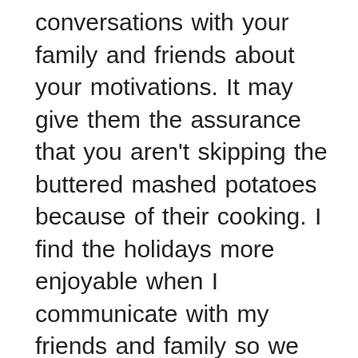conversations with your family and friends about your motivations. It may give them the assurance that you aren't skipping the buttered mashed potatoes because of their cooking. I find the holidays more enjoyable when I communicate with my friends and family so we both know what to expect The person hosting will appreciate the heads up, too.